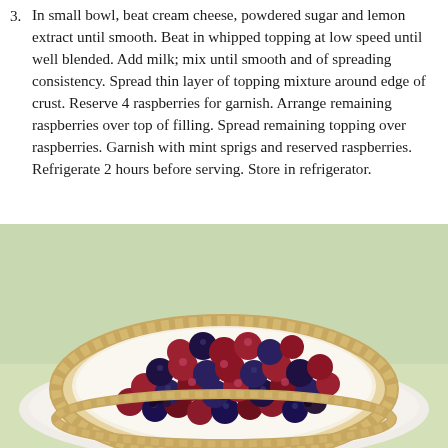3. In small bowl, beat cream cheese, powdered sugar and lemon extract until smooth. Beat in whipped topping at low speed until well blended. Add milk; mix until smooth and of spreading consistency. Spread thin layer of topping mixture around edge of crust. Reserve 4 raspberries for garnish. Arrange remaining raspberries over top of filling. Spread remaining topping over raspberries. Garnish with mint sprigs and reserved raspberries. Refrigerate 2 hours before serving. Store in refrigerator.
[Figure (photo): A round berry tart with a fluted pastry crust filled with cream cheese topping and covered with fresh raspberries, blueberries, and blackberries, presented on a white plate against a light green background.]